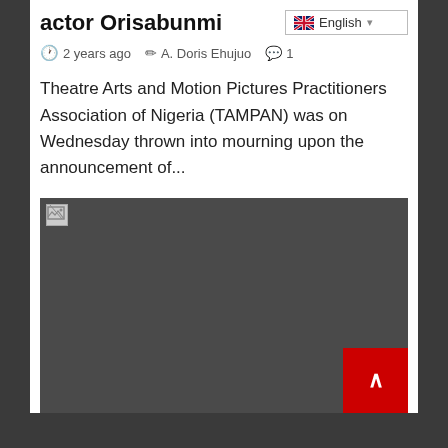actor Orisabunmi
2 years ago  A. Doris Ehujuo  1
Theatre Arts and Motion Pictures Practitioners Association of Nigeria (TAMPAN) was on Wednesday thrown into mourning upon the announcement of...
[Figure (photo): Dark/broken image placeholder with a broken image icon in top-left corner and a red back-to-top button in the bottom-right corner]